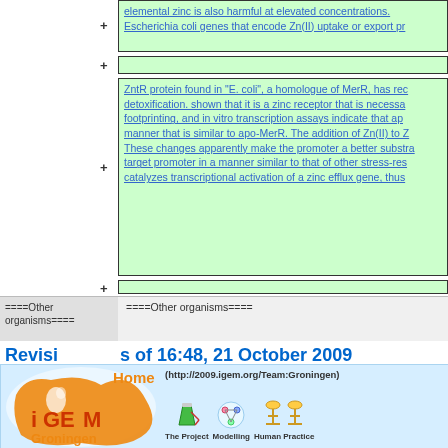elemental zinc is also harmful at elevated concentrations. Escherichia coli genes that encode Zn(II) uptake or export pr...
[collapsed block]
ZntR protein found in "E. coli", a homologue of MerR, has rec... detoxification. shown that it is a zinc receptor that is necessa... footprinting, and in vitro transcription assays indicate that ap... manner that is similar to apo-MerR. The addition of Zn(II) to Z... These changes apparently make the promoter a better substra... target promoter in a manner similar to that of other stress-res... catalyzes transcriptional activation of a zinc efflux gene, thus...
[collapsed block]
====Other organisms====
====Other organisms====
Revision as of 16:48, 21 October 2009
[Figure (logo): iGEM Groningen 2009 team logo and navigation banner showing Home link (http://2009.igem.org/Team:Groningen), The Project, Modelling, Human Practice icons]
[Figure (illustration): Partial view of biological diagram showing Transport and Accumulation labels with yellow curved shapes and pink oval shapes]